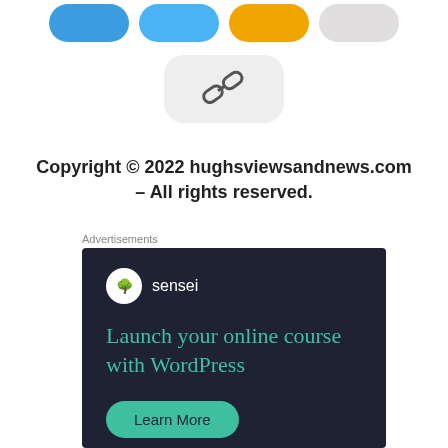[Figure (illustration): Four rounded pill-shaped social sharing buttons (blue, light blue, orange, light gray) partially visible at top of page, plus a link/chain icon button in a light gray rounded rectangle below them]
Copyright © 2022 hughsviewsandnews.com – All rights reserved.
Advertisements
[Figure (screenshot): Advertisement for Sensei by WordPress.com: dark navy background with Sensei logo (tree icon in white circle), teal headline 'Launch your online course with WordPress', teal 'Learn More' rounded button, and 'Powered by WordPress.com' footer with WordPress logo]